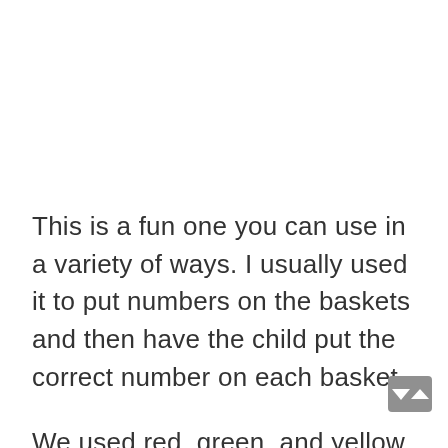This is a fun one you can use in a variety of ways. I usually used it to put numbers on the baskets and then have the child put the correct number on each basket.

We used red, green, and yellow skittles. You could use any food or even just red, green, and yellow stickers or pieces of